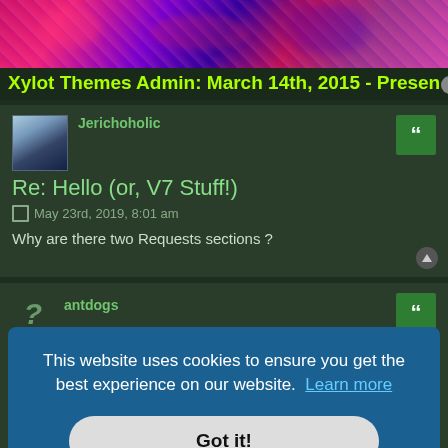[Figure (illustration): Abstract colorful banner image with pink, purple, and dark colors with floral/abstract patterns]
Xylot Themes Admin: March 14th, 2015 - Present
Jerichoholic
Re: Hello (or, V7 Stuff!)
May 23rd, 2019, 8:01 am
Why are there two Requests sections ?
antdogs
This website uses cookies to ensure you get the best experience on our website.  Learn more
Got it!
ay :/ but he game. say
thebib62